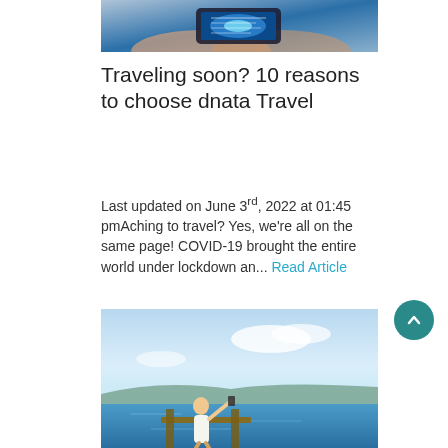[Figure (photo): Hands holding a smartphone with glowing digital display]
Traveling soon? 10 reasons to choose dnata Travel
Last updated on June 3rd, 2022 at 01:45 pmAching to travel? Yes, we’re all on the same page! COVID-19 brought the entire world under lockdown an... Read Article
[Figure (photo): Woman sitting on a dock taking a selfie with a lake and blue sky in the background]